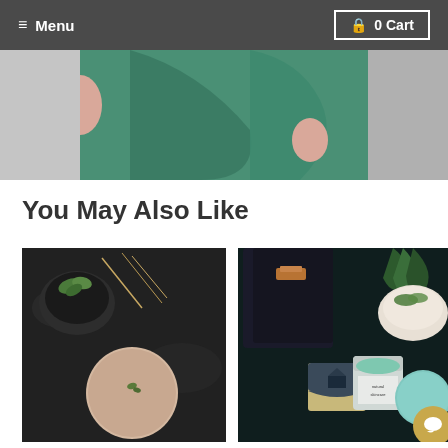Menu  0 Cart
[Figure (photo): Close-up of a woman in a teal/green dress, hands at waist]
You May Also Like
[Figure (photo): A round pink bath bomb on dark stone surface with mortar and pestle containing herbs]
[Figure (photo): Spa/bath product set — dark leather bag, artisan soap bar, green body scrub jar, aqua bath bomb on dark background]